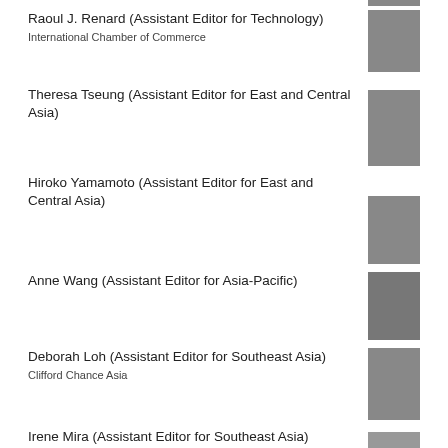[Figure (photo): Partial headshot photo visible at top of page]
Raoul J. Renard (Assistant Editor for Technology)
International Chamber of Commerce
[Figure (photo): Black and white headshot of Raoul J. Renard]
Theresa Tseung (Assistant Editor for East and Central Asia)
[Figure (photo): Black and white headshot of Theresa Tseung]
Hiroko Yamamoto (Assistant Editor for East and Central Asia)
[Figure (photo): Black and white headshot of Hiroko Yamamoto]
Anne Wang (Assistant Editor for Asia-Pacific)
[Figure (photo): Headshot of Anne Wang]
Deborah Loh (Assistant Editor for Southeast Asia)
Clifford Chance Asia
[Figure (photo): Black and white headshot of Deborah Loh]
Irene Mira (Assistant Editor for Southeast Asia)
[Figure (photo): Partial headshot of Irene Mira at bottom of page]